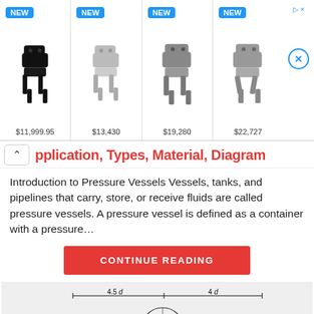[Figure (photo): Advertisement banner showing four robot dogs with NEW badges and prices: $11,999.95, $13,430, $19,280, $22,727]
pplication, Types, Material, Diagram
Introduction to Pressure Vessels Vessels, tanks, and pipelines that carry, store, or receive fluids are called pressure vessels. A pressure vessel is defined as a container with a pressure...
CONTINUE READING
[Figure (engineering-diagram): Engineering diagram of a clevis pin/bolt assembly showing dimensions 4.5d and 4d, with octagonal end, pin head, single eye or rod end, and dimension labels d, d2, d3, with force P applied at both ends]